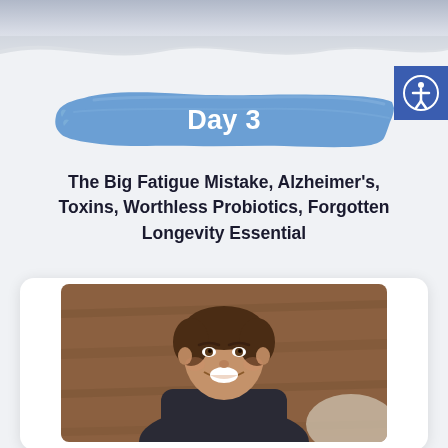Day 3
The Big Fatigue Mistake, Alzheimer's, Toxins, Worthless Probiotics, Forgotten Longevity Essential
[Figure (photo): Smiling middle-aged man with brown hair, wearing a dark jacket, photographed in front of a warm brown wooden background with a light pillow visible]